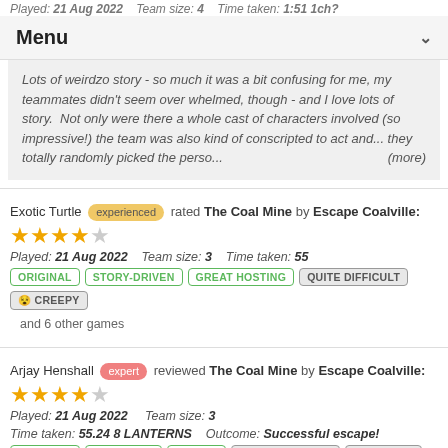Played: 21 Aug 2022   Team size: 4   Time taken: 1:51 1ch?
Menu
Lots of weirdzo story - so much it was a bit confusing for me, my teammates didn't seem over whelmed, though - and I love lots of story. Not only were there a whole cast of characters involved (so impressive!) the team was also kind of conscripted to act and... they totally randomly picked the perso... (more)
Exotic Turtle experienced rated The Coal Mine by Escape Coalville:
[Figure (other): 4 out of 5 stars rating]
Played: 21 Aug 2022   Team size: 3   Time taken: 55
ORIGINAL | STORY-DRIVEN | GREAT HOSTING | QUITE DIFFICULT | CREEPY
and 6 other games
Arjay Henshall expert reviewed The Coal Mine by Escape Coalville:
[Figure (other): 4 out of 5 stars rating]
Played: 21 Aug 2022   Team size: 3
Time taken: 55.24 8 LANTERNS   Outcome: Successful escape!
ORIGINAL | IMMERSIVE | UNIQUE | QUITE DIFFICULT | CREEPY